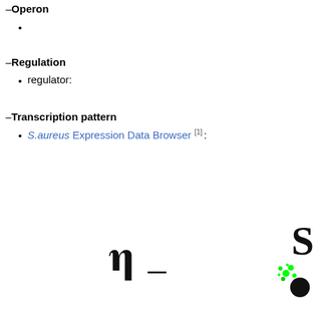Operon
Regulation
regulator:
Transcription pattern
S.aureus Expression Data Browser [1]: